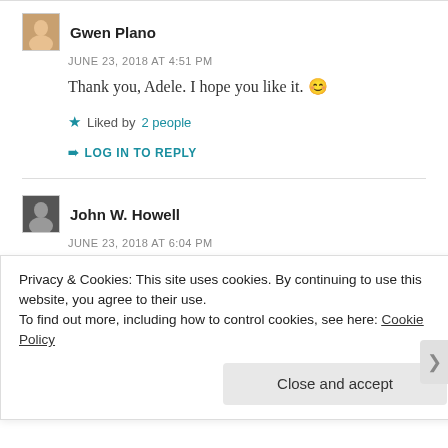Gwen Plano
JUNE 23, 2018 AT 4:51 PM
Thank you, Adele. I hope you like it. 😊
Liked by 2 people
LOG IN TO REPLY
John W. Howell
JUNE 23, 2018 AT 6:04 PM
Privacy & Cookies: This site uses cookies. By continuing to use this website, you agree to their use.
To find out more, including how to control cookies, see here: Cookie Policy
Close and accept